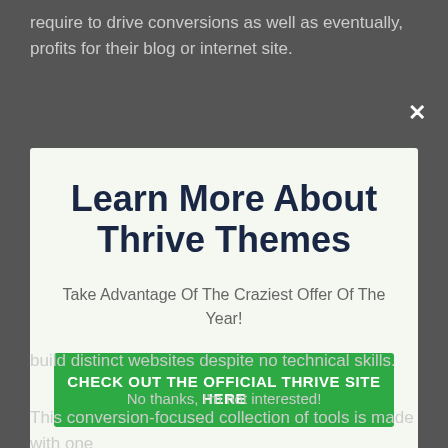require to drive conversions as well as eventually, profits for their blog or internet site.
[Figure (screenshot): Modal popup with title 'Learn More About Thrive Themes', subtitle 'Take Advantage Of The Craziest Offer Of The Year!', and a green CTA button 'CHECK OUT THE OFFICIAL THRIVE SITE HERE'. There is an X close button in the top right corner.]
build distinct websites despite no technical skills.
No thanks, I'm not interested!
This conversion-focused collection of tools is made with one